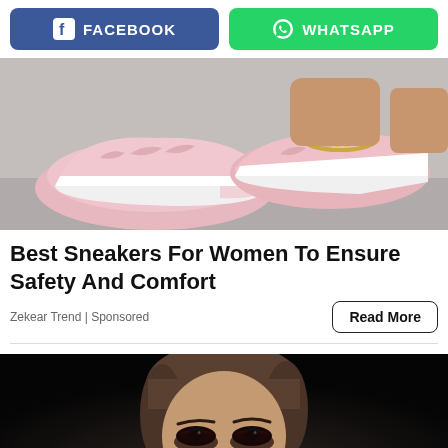[Figure (infographic): Facebook and WhatsApp share buttons — Facebook button on left (blue with f icon and FACEBOOK text), WhatsApp button on right (green with WhatsApp icon and WHATSAPP text)]
[Figure (photo): Photo of pink women's platform sneakers/slip-ons with cutout details and white soles, worn by a person with a gold chain anklet, against a grey background]
Best Sneakers For Women To Ensure Safety And Comfort
Zekear Trend | Sponsored
[Figure (photo): Dark photo of a woman's face looking upward, with heavy eye makeup, partially visible against a very dark background. A scroll-to-top arrow icon is visible in the bottom right corner.]